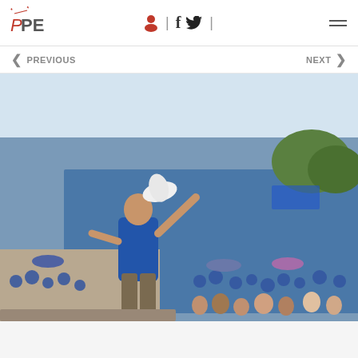PPE logo with navigation icons (person, Facebook, Twitter) and hamburger menu
< PREVIOUS    NEXT >
[Figure (photo): A man in a blue shirt standing on a stage with arms raised toward a massive crowd of supporters dressed predominantly in blue, at an outdoor political rally. Trees and hills visible in background.]